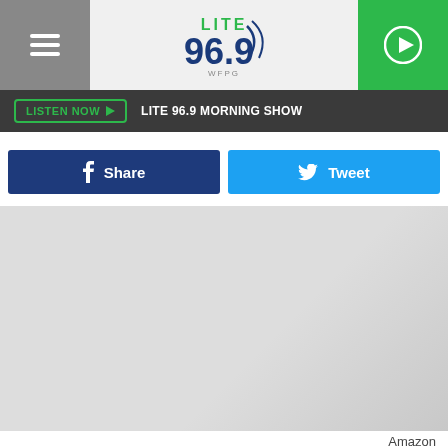[Figure (logo): Lite 96.9 WFPG radio station logo with green and blue text]
LISTEN NOW ▶  LITE 96.9 MORNING SHOW
f  Share
🐦  Tweet
[Figure (photo): Large image placeholder (Amazon attributed photo)]
Amazon
Jill Soloway got a good helping of praise for Transparent, but